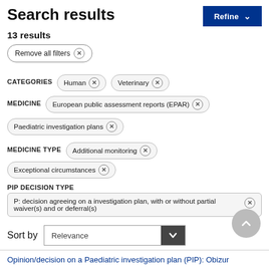Search results
13 results
Remove all filters ×
CATEGORIES   Human ×   Veterinary ×
MEDICINE   European public assessment reports (EPAR) ×   Paediatric investigation plans ×
MEDICINE TYPE   Additional monitoring ×   Exceptional circumstances ×
PIP DECISION TYPE
P: decision agreeing on a investigation plan, with or without partial waiver(s) and or deferral(s) ×
Sort by   Relevance
Opinion/decision on a Paediatric investigation plan (PIP): Obizur